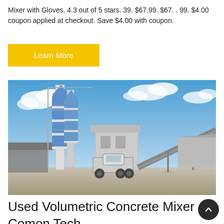Mixer with Gloves. 4.3 out of 5 stars. 39. $67.99. $67. . 99. $4.00 coupon applied at checkout. Save $4.00 with coupon.
Learn More
[Figure (photo): A concrete batching plant with tall blue and white cylindrical silos, conveyor belts, a large mixing unit, and a white truck parked in front, set against a blue sky with clouds.]
Used Volumetric Concrete Mixers for s
Comon Tech